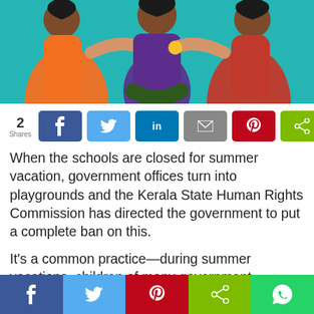[Figure (illustration): Colorful illustration of three women holding hands — one in orange on left, one in purple seated in center, one in pink/red on right, on a teal background with decorative elements.]
2 Shares — social share buttons: Facebook, Twitter, LinkedIn, Email, Pinterest, Share
When the schools are closed for summer vacation, government offices turn into playgrounds and the Kerala State Human Rights Commission has directed the government to put a complete ban on this.
It's a common practice—during summer vacations, children of many government employees occupy their seats in government offices!
[Figure (infographic): Bottom social share bar with Facebook, Twitter, Pinterest, Share, and WhatsApp buttons.]